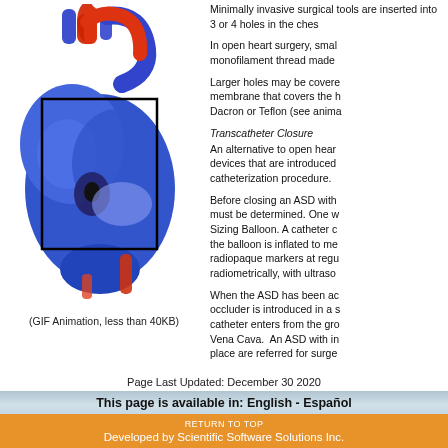[Figure (illustration): 3D illustration of a blue heart with red blood vessels, showing a black rectangular outline highlighting a region on the heart surface. The heart is shown in anatomical position with aorta and pulmonary vessels visible.]
(GIF Animation, less than 40KB)
Minimally invasive surgical tools are inserted into 3 or 4 holes in the chest.
In open heart surgery, small holes are sewn with monofilament thread made
Larger holes may be covered with a patch of pericardium (the membrane that covers the heart) or a synthetic material such as Dacron or Teflon (see animation).
Transcatheter Closure
An alternative to open heart surgery is to use closure devices that are introduced through the heart via a cardiac catheterization procedure.
Before closing an ASD with a device, the size of the ASD must be determined. One way to measure the ASD is with a Sizing Balloon. A catheter containing a balloon is positioned; the balloon is inflated to measure the defect. Balloons with radiopaque markers at regular intervals can be measured radiometrically, with ultraso
When the ASD has been accurately sized, an appropriate occluder is introduced in a sheath-covered catheter. The catheter enters from the groin and proceeds up the Inferior Vena Cava. An ASD with inadequate tissue rims to hold a device in place are referred for surge
Page Last Updated: December 30 2020
This page is available in: English - Español
RETURN TO TOP
Developed by Scientific Software Solutions Inc.